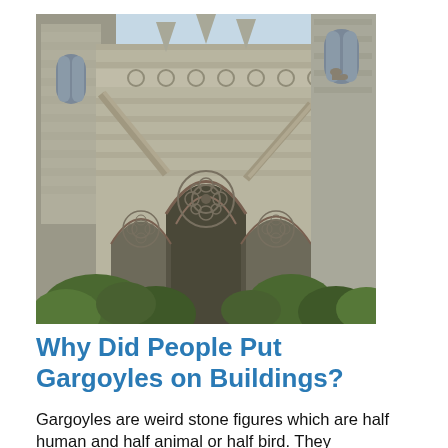[Figure (photo): Gothic cathedral exterior showing ornate stone arches, tracery windows, flying buttresses, and surrounding green trees against a light sky.]
Why Did People Put Gargoyles on Buildings?
Gargoyles are weird stone figures which are half human and half animal or half bird. They